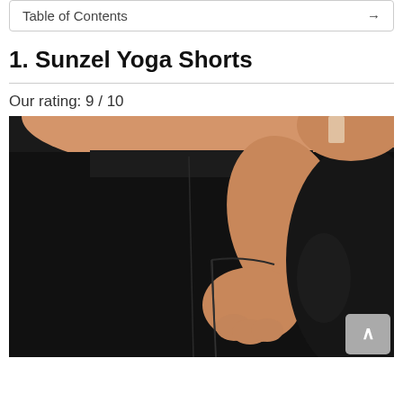Table of Contents →
1. Sunzel Yoga Shorts
Our rating: 9 / 10
[Figure (photo): Close-up photo of a woman wearing black Sunzel yoga shorts, shown from the waist down on the side. She has her hand in the side pocket of the shorts. The shorts are high-waisted and solid black.]